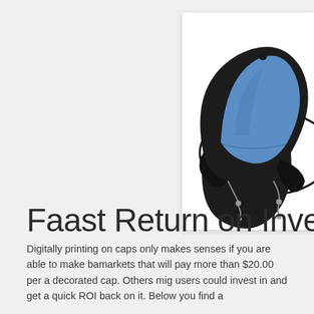[Figure (photo): A decorative cap/hat with blue fabric and black visor with chain details, photographed against a white background in a white-bordered card.]
Faast Return on Invest
Digitally printing on caps only makes senses if you are able to make back markets that will pay more than $20.00 per a decorated cap. Others mig users could invest in and get a quick ROI back on it. Below you find a